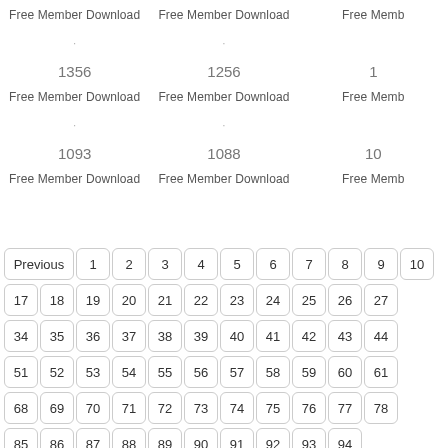Free Member Download
Free Member Download
Free Memb
1356
1256
1
Free Member Download
Free Member Download
Free Memb
1093
1088
10
Free Member Download
Free Member Download
Free Memb
Previous 1 2 3 4 5 6 7 8 9 10
17 18 19 20 21 22 23 24 25 26 27
34 35 36 37 38 39 40 41 42 43 44
51 52 53 54 55 56 57 58 59 60 61
68 69 70 71 72 73 74 75 76 77 78
85 86 87 88 89 90 91 92 93 94